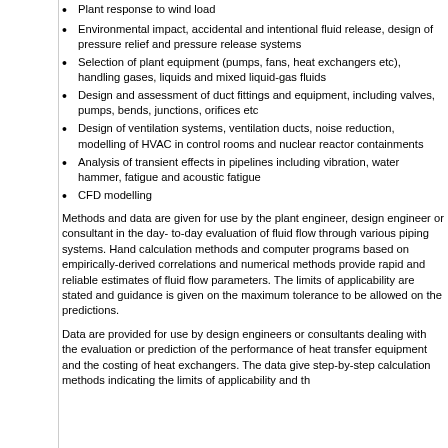Plant response to wind load
Environmental impact, accidental and intentional fluid release, design of pressure relief and pressure release systems
Selection of plant equipment (pumps, fans, heat exchangers etc), handling gases, liquids and mixed liquid-gas fluids
Design and assessment of duct fittings and equipment, including valves, pumps, bends, junctions, orifices etc
Design of ventilation systems, ventilation ducts, noise reduction, modelling of HVAC in control rooms and nuclear reactor containments
Analysis of transient effects in pipelines including vibration, water hammer, fatigue and acoustic fatigue
CFD modelling
Methods and data are given for use by the plant engineer, design engineer or consultant in the day- to-day evaluation of fluid flow through various piping systems. Hand calculation methods and computer programs based on empirically-derived correlations and numerical methods provide rapid and reliable estimates of fluid flow parameters. The limits of applicability are stated and guidance is given on the maximum tolerance to be allowed on the predictions.
Data are provided for use by design engineers or consultants dealing with the evaluation or prediction of the performance of heat transfer equipment and the costing of heat exchangers. The data give step-by-step calculation methods indicating the limits of applicability and the...